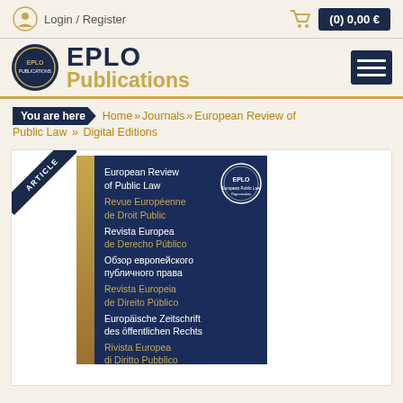Login / Register    (0) 0,00 €
EPLO Publications
You are here » Home » Journals » European Review of Public Law » Digital Editions
[Figure (illustration): EPLO Publications journal cover showing European Review of Public Law in multiple languages including English, French, Spanish, Russian, Portuguese, German, and Italian, with a dark navy background and gold spine]